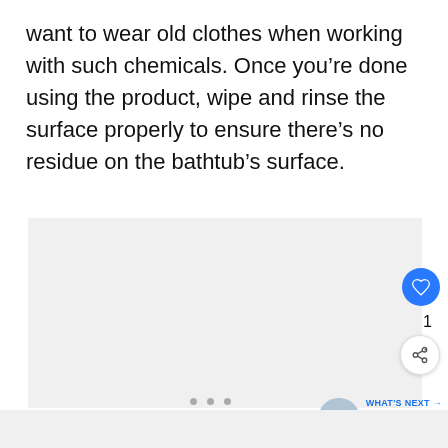want to wear old clothes when working with such chemicals. Once you're done using the product, wipe and rinse the surface properly to ensure there's no residue on the bathtub's surface.
[Figure (photo): Large image placeholder area with light gray background, occupying most of the lower portion of the page. Three gray dots are visible beneath it as a carousel indicator.]